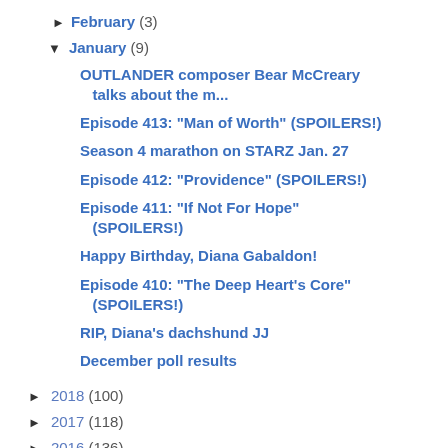► February (3)
▼ January (9)
OUTLANDER composer Bear McCreary talks about the m...
Episode 413: "Man of Worth" (SPOILERS!)
Season 4 marathon on STARZ Jan. 27
Episode 412: "Providence" (SPOILERS!)
Episode 411: "If Not For Hope" (SPOILERS!)
Happy Birthday, Diana Gabaldon!
Episode 410: "The Deep Heart's Core" (SPOILERS!)
RIP, Diana's dachshund JJ
December poll results
► 2018 (100)
► 2017 (118)
► 2016 (136)
► 2015 (164)